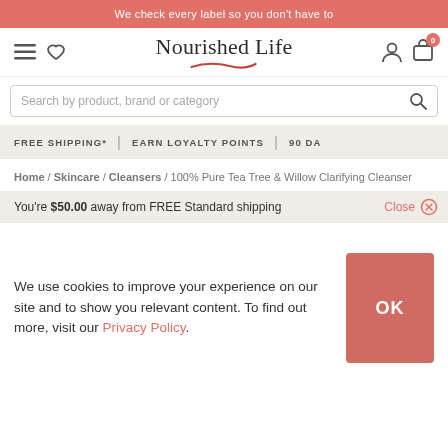We check every label so you don't have to
[Figure (logo): Nourished Life logo with cursive underline swoosh]
Search by product, brand or category
FREE SHIPPING* | EARN LOYALTY POINTS | 90 DA...
Home / Skincare / Cleansers / 100% Pure Tea Tree & Willow Clarifying Cleanser
You're $50.00 away from FREE Standard shipping
Close ×
We use cookies to improve your experience on our site and to show you relevant content. To find out more, visit our Privacy Policy.